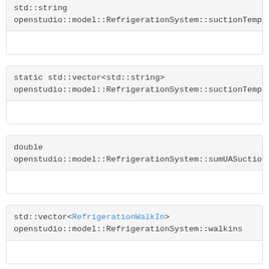std::string openstudio::model::RefrigerationSystem::suctionTempe...
static std::vector<std::string> openstudio::model::RefrigerationSystem::suctionTempe...
double openstudio::model::RefrigerationSystem::sumUASuctio...
std::vector<RefrigerationWalkIn> openstudio::model::RefrigerationSystem::walkins ()const